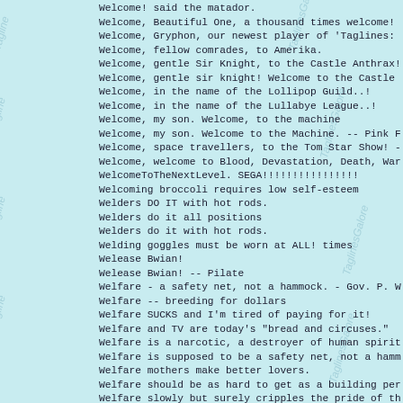Welcome! said the matador.
Welcome, Beautiful One, a thousand times welcome!
Welcome, Gryphon, our newest player of 'Taglines:
Welcome, fellow comrades, to Amerika.
Welcome, gentle Sir Knight, to the Castle Anthrax!
Welcome, gentle sir knight!  Welcome to the Castle
Welcome, in the name of the Lollipop Guild..!
Welcome, in the name of the Lullabye League..!
Welcome, my son.  Welcome, to the machine
Welcome, my son. Welcome to the Machine. -- Pink F
Welcome, space travellers, to the Tom Star Show! -
Welcome, welcome to Blood, Devastation, Death, War
WelcomeToTheNextLevel.  SEGA!!!!!!!!!!!!!!!!
Welcoming broccoli requires low self-esteem
Welders DO IT with hot rods.
Welders do it all positions
Welders do it with hot rods.
Welding goggles must be worn at ALL! times
Welease Bwian!
Welease Bwian! -- Pilate
Welfare - a safety net, not a hammock. - Gov. P. W
Welfare -- breeding for dollars
Welfare SUCKS and I'm tired of paying for it!
Welfare and TV are today's "bread and circuses."
Welfare is a narcotic, a destroyer of human spirit
Welfare is supposed to be a safety net, not a hamm
Welfare mothers make better lovers.
Welfare should be as hard to get as a building per
Welfare slowly but surely cripples the pride of th
Welfare theme song.... The World Owes Me a Living